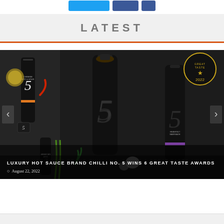[Figure (other): Social sharing buttons: a wide blue Tweet button, a medium blue Facebook Share button, and a small blue Facebook icon button]
LATEST
[Figure (photo): Product photo of Chilli No. 5 luxury hot sauce bottles with dark labels featuring the number 5, arranged on a dark background with spices, lemon slices and herbs. A 2022 Great Taste Award star logo is visible in the top right corner.]
LUXURY HOT SAUCE BRAND CHILLI NO. 5 WINS 6 GREAT TASTE AWARDS
August 22, 2022
[Figure (other): Bottom teaser strip in light grey]